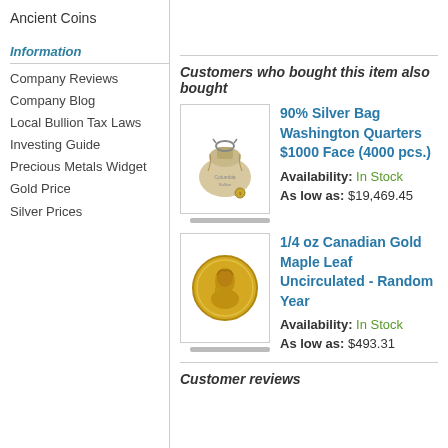Ancient Coins
Information
Company Reviews
Company Blog
Local Bullion Tax Laws
Investing Guide
Precious Metals Widget
Gold Price
Silver Prices
Customers who bought this item also bought
[Figure (photo): Linen bag with silver coins]
90% Silver Bag Washington Quarters $1000 Face (4000 pcs.) Availability: In Stock As low as: $19,469.45
[Figure (photo): Gold Canadian Maple Leaf coin]
1/4 oz Canadian Gold Maple Leaf Uncirculated - Random Year Availability: In Stock As low as: $493.31
Customer reviews